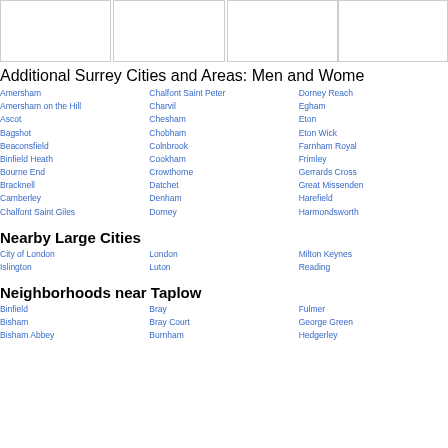[Figure (photo): Three image boxes at the top of the page]
Additional Surrey Cities and Areas: Men and Wome
Amersham
Amersham on the Hill
Ascot
Bagshot
Beaconsfield
Binfield Heath
Bourne End
Bracknell
Camberley
Chalfont Saint Giles
Chalfont Saint Peter
Charvil
Chesham
Chobham
Colnbrook
Cookham
Crowthorne
Datchet
Denham
Dorney
Dorney Reach
Egham
Eton
Eton Wick
Farnham Royal
Frimley
Gerrards Cross
Great Missenden
Harefield
Harmondsworth
Nearby Large Cities
City of London
Islington
London
Luton
Milton Keynes
Reading
Neighborhoods near Taplow
Binfield
Bisham
Bisham Abbey
Bray
Bray Court
Burnham
Fulmer
George Green
Hedgerley